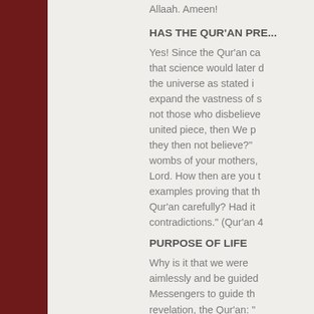Allaah. Ameen!
HAS THE QUR'AN PRE...
Yes! Since the Qur'an ca... that science would later d... the universe as stated i... expand the vastness of s... not those who disbelieve... united piece, then We p... they then not believe?"... wombs of your mothers,... Lord. How then are you t... examples proving that th... Qur'an carefully? Had it... contradictions." (Qur'an 4...
PURPOSE OF LIFE
Why is it that we were... aimlessly and be guided... Messengers to guide th... revelation, the Qur'an: "... 56:51] The single-most i...
SHOULD YOU BECO...